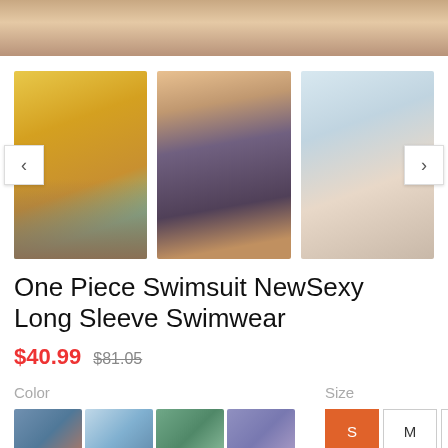[Figure (photo): Top banner: partial photo of person at beach, showing torso/legs]
[Figure (photo): Product image carousel with three photos: woman in yellow floral long-sleeve swimsuit with surfboard, woman in dark floral long-sleeve swimsuit, woman in white/light swimsuit holding surfboard overhead. Navigation arrows on left and right.]
One Piece Swimsuit NewSexy Long Sleeve Swimwear
$40.99  $81.05
Color
[Figure (photo): Color swatch grid showing 12 thumbnail images of the swimsuit in different color/pattern options, arranged in 4 columns x 3 rows]
Size
S  M  L  XL